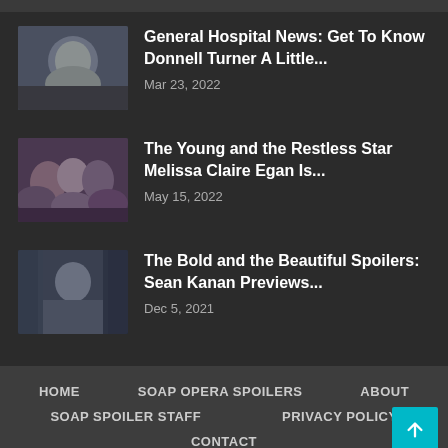[Figure (photo): Thumbnail photo of Donnell Turner (man smiling)]
General Hospital News: Get To Know Donnell Turner A Little...
Mar 23, 2022
[Figure (photo): Thumbnail group photo with Melissa Claire Egan and others]
The Young and the Restless Star Melissa Claire Egan Is...
May 15, 2022
[Figure (photo): Thumbnail photo of Sean Kanan]
The Bold and the Beautiful Spoilers: Sean Kanan Previews...
Dec 5, 2021
HOME   SOAP OPERA SPOILERS   ABOUT   SOAP SPOILER STAFF   PRIVACY POLICY   CONTACT